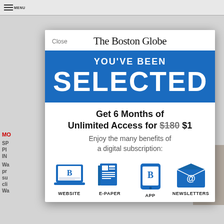MENU
The Boston Globe
YOU'VE BEEN SELECTED
Get 6 Months of Unlimited Access for $180 $1
Enjoy the many benefits of a digital subscription:
[Figure (infographic): Four blue icons representing subscription benefits: Website (laptop with Boston Globe logo), E-Paper (newspaper), App (mobile phone with B logo), Newsletters (envelope with @ symbol)]
WEBSITE   E-PAPER   APP   NEWSLETTERS